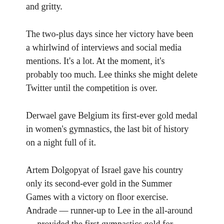and gritty.
The two-plus days since her victory have been a whirlwind of interviews and social media mentions. It’s a lot. At the moment, it’s probably too much. Lee thinks she might delete Twitter until the competition is over.
Derwael gave Belgium its first-ever gold medal in women’s gymnastics, the last bit of history on a night full of it.
Artem Dolgopyat of Israel gave his country only its second-ever gold in the Summer Games with a victory on floor exercise. Andrade — runner-up to Lee in the all-around — provided the first gymnastics gold for Brazil. Lee Chih-Kai’s silver on pommel horse was the first for Taiwan after finishing behind two-time Olympic champion Max Whitlock of Britain.
Andrade’s spectacular display on vault is all the more jarring